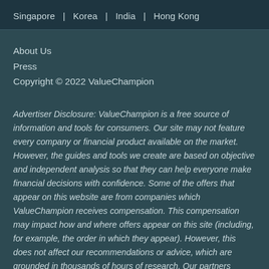Singapore  |  Korea  |  India  |  Hong Kong
About Us
Press
Copyright © 2022 ValueChampion
Advertiser Disclosure: ValueChampion is a free source of information and tools for consumers. Our site may not feature every company or financial product available on the market. However, the guides and tools we create are based on objective and independent analysis so that they can help everyone make financial decisions with confidence. Some of the offers that appear on this website are from companies which ValueChampion receives compensation. This compensation may impact how and where offers appear on this site (including, for example, the order in which they appear). However, this does not affect our recommendations or advice, which are grounded in thousands of hours of research. Our partners cannot pay us to guarantee favorable reviews